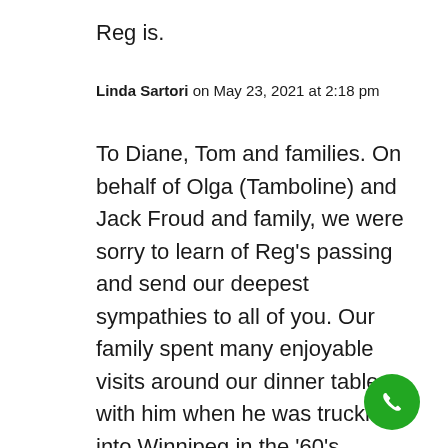Reg is.
Linda Sartori on May 23, 2021 at 2:18 pm
To Diane, Tom and families. On behalf of Olga (Tamboline) and Jack Froud and family, we were sorry to learn of Reg’s passing and send our deepest sympathies to all of you. Our family spent many enjoyable visits around our dinner table with him when he was trucking into Winnipeg in the ’60’s, wonderful memories, never forgotten.
[Figure (illustration): Green circular phone/call button icon in bottom right corner]